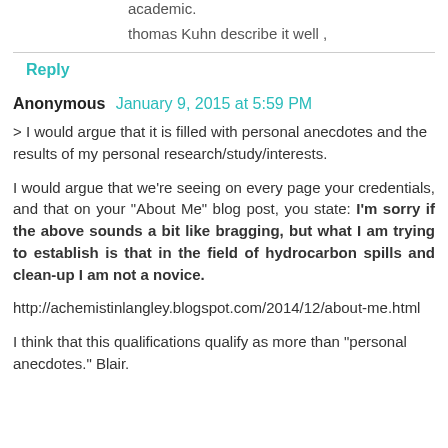academic.
thomas Kuhn describe it well ,
Reply
Anonymous  January 9, 2015 at 5:59 PM
> I would argue that it is filled with personal anecdotes and the results of my personal research/study/interests.
I would argue that we're seeing on every page your credentials, and that on your "About Me" blog post, you state: I'm sorry if the above sounds a bit like bragging, but what I am trying to establish is that in the field of hydrocarbon spills and clean-up I am not a novice.
http://achemistinlangley.blogspot.com/2014/12/about-me.html
I think that this qualifications qualify as more than "personal anecdotes." Blair.